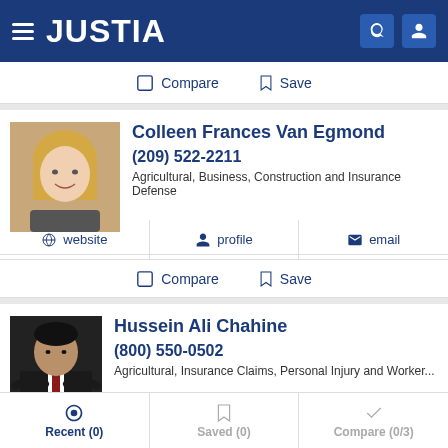[Figure (screenshot): Justia website header with hamburger menu, logo, search and profile icons on dark blue background]
Compare   Save
Colleen Frances Van Egmond
(209) 522-2211
Agricultural, Business, Construction and Insurance Defense
website   profile   email
Compare   Save
Hussein Ali Chahine
(800) 550-0502
Agricultural, Insurance Claims, Personal Injury and Worker...
Recent (0)   Saved (0)   Compare (0/3)